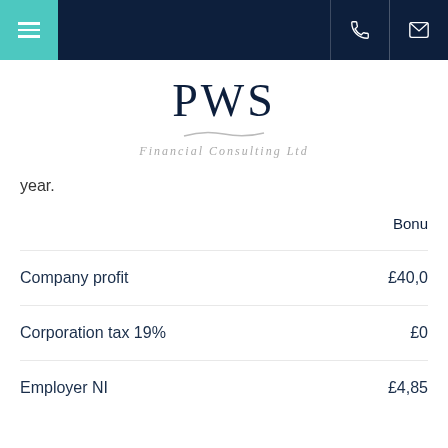PWS Financial Consulting Ltd
year.
Bonus
|  | Bonus |
| --- | --- |
| Company profit | £40,0... |
| Corporation tax 19% | £0 |
| Employer NI | £4,85... |